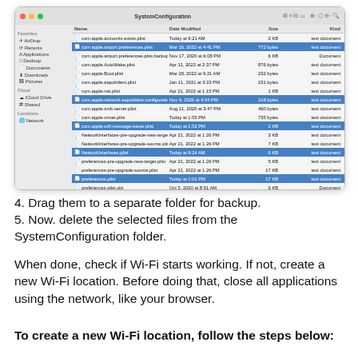[Figure (screenshot): macOS Finder window showing SystemConfiguration folder with multiple .plist files listed. Several files are highlighted in blue (selected): com.apple.airport.preferences.plist, com.apple.network.eapolclient.configuration.plist, com.apple.wifi.message-tracer.plist, NetworkInterfaces.plist, preferences.plist. Columns show Name, Date Modified, Size, Kind.]
4. Drag them to a separate folder for backup.
5. Now. delete the selected files from the SystemConfiguration folder.
When done, check if Wi-Fi starts working. If not, create a new Wi-Fi location. Before doing that, close all applications using the network, like your browser.
To create a new Wi-Fi location, follow the steps below: